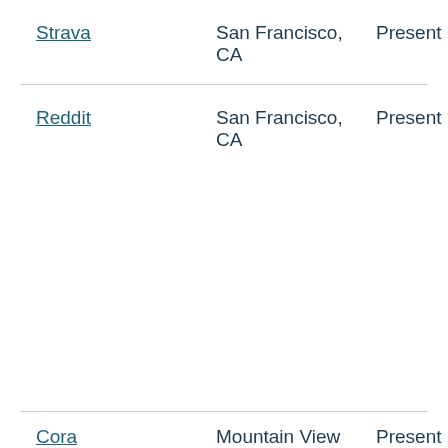Strava | San Francisco, CA | Present
Reddit | San Francisco, CA | Present
Cora | Mountain View | Present